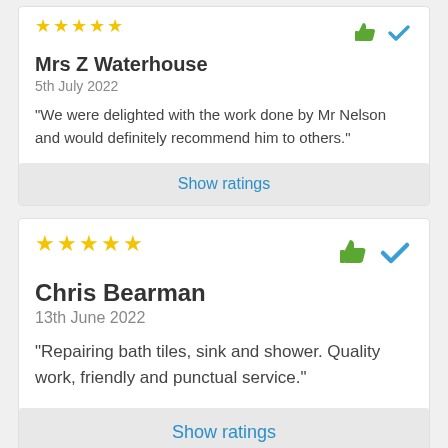[Figure (other): 5 gold stars rating for Mrs Z Waterhouse review]
Mrs Z Waterhouse
5th July 2022
"We were delighted with the work done by Mr Nelson and would definitely recommend him to others."
Show ratings
[Figure (other): 5 gold stars rating for Chris Bearman review]
Chris Bearman
13th June 2022
"Repairing bath tiles, sink and shower. Quality work, friendly and punctual service."
Show ratings